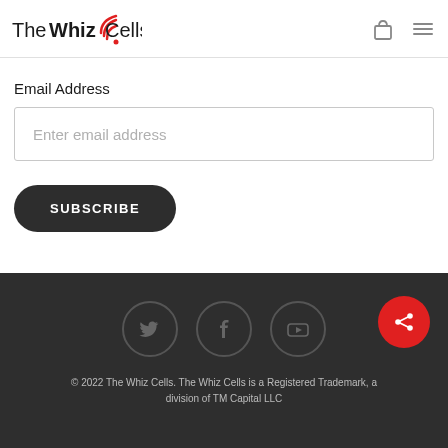The WhizCells
Email Address
Enter email address
SUBSCRIBE
[Figure (illustration): Social media icons (Twitter, Facebook, YouTube) in dark circles on dark background]
© 2022 The Whiz Cells. The Whiz Cells is a Registered Trademark, a division of TM Capital LLC